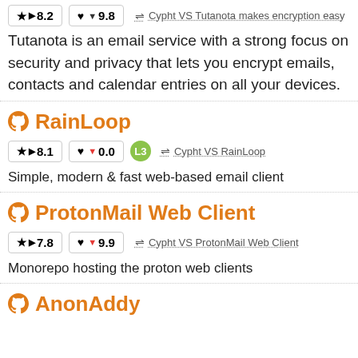Tutanota is an email service with a strong focus on security and privacy that lets you encrypt emails, contacts and calendar entries on all your devices.
RainLoop
★ ▶ 8.1   ♥ ▼ 0.0   L3   ⇌ Cypht VS RainLoop
Simple, modern & fast web-based email client
ProtonMail Web Client
★ ▶ 7.8   ♥ ▼ 9.9   ⇌ Cypht VS ProtonMail Web Client
Monorepo hosting the proton web clients
AnonAddy